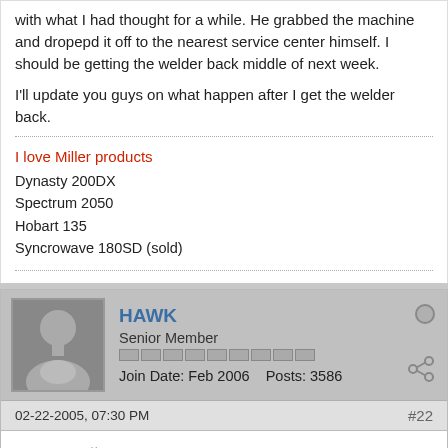with what I had thought for a while. He grabbed the machine and dropepd it off to the nearest service center himself. I should be getting the welder back middle of next week.
I'll update you guys on what happen after I get the welder back.
I love Miller products
Dynasty 200DX
Spectrum 2050
Hobart 135
Syncrowave 180SD (sold)
HAWK
Senior Member
Join Date: Feb 2006  Posts: 3586
02-22-2005, 07:30 PM
#22
grocery_getter,
After all has been evaluated it sounds like the polarity switching IGBTs are not functioning properly. This could explain why your DC welds are okay, but the AC beads are porous and prickly. In the beginning there were a few units in a specific serial number range that had exhibited